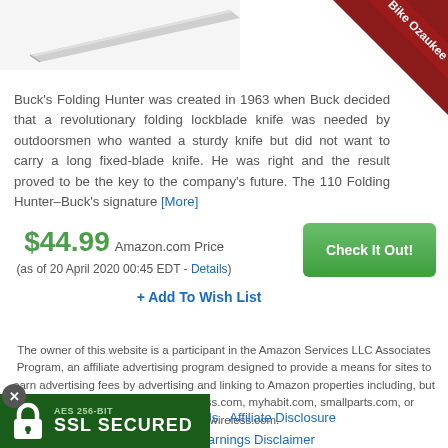[Figure (photo): Partial view of a knife blade (Buck Folding Hunter) on white background]
[Figure (other): Bike Ozaukee red diagonal ribbon/banner in top-right corner]
Buck's Folding Hunter was created in 1963 when Buck decided that a revolutionary folding lockblade knife was needed by outdoorsmen who wanted a sturdy knife but did not want to carry a long fixed-blade knife. He was right and the result proved to be the key to the company's future. The 110 Folding Hunter–Buck's signature [More]
$44.99 Amazon.com Price
(as of 20 April 2020 00:45 EDT - Details)
+ Add To Wish List
The owner of this website is a participant in the Amazon Services LLC Associates Program, an affiliate advertising program designed to provide a means for sites to earn advertising fees by advertising and linking to Amazon properties including, but not limited to, amazon.com, endless.com, myhabit.com, smallparts.com, or amazonwireless.com.
f Use  Contact Us  Affiliate Disclosure
DMCA  Earnings Disclaimer
[Figure (other): AES 256-BIT SSL SECURED badge with lock icon on dark green background]